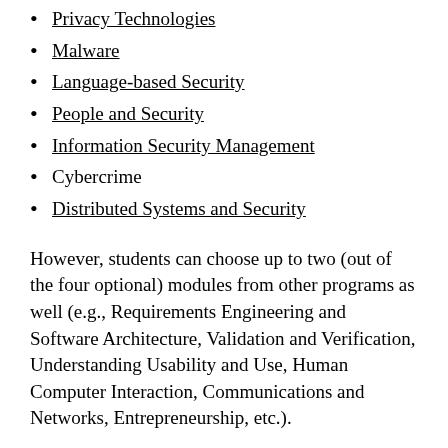Privacy Technologies
Malware
Language-based Security
People and Security
Information Security Management
Cybercrime
Distributed Systems and Security
However, students can choose up to two (out of the four optional) modules from other programs as well (e.g., Requirements Engineering and Software Architecture, Validation and Verification, Understanding Usability and Use, Human Computer Interaction, Communications and Networks, Entrepreneurship, etc.).
The programme also includes a thesis involving an independent piece of research (typically yielding a 50+ report), which can also be complete while